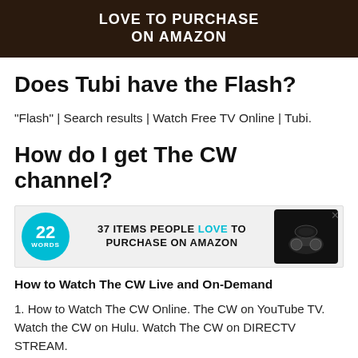[Figure (photo): Top advertisement banner with dark background, text 'LOVE TO PURCHASE ON AMAZON' in white bold uppercase letters, with food/product images on sides.]
Does Tubi have the Flash?
“Flash” | Search results | Watch Free TV Online | Tubi.
How do I get The CW channel?
[Figure (photo): Advertisement banner: 22 WORDS logo (teal circle), text '37 ITEMS PEOPLE LOVE TO PURCHASE ON AMAZON' in bold black and teal, with image of wireless earbuds/headphones on dark background on the right. Close X button top right.]
How to Watch The CW Live and On-Demand
How to Watch The CW Online. The CW on YouTube TV. Watch the CW on Hulu. Watch The CW on DIRECTV STREAM.